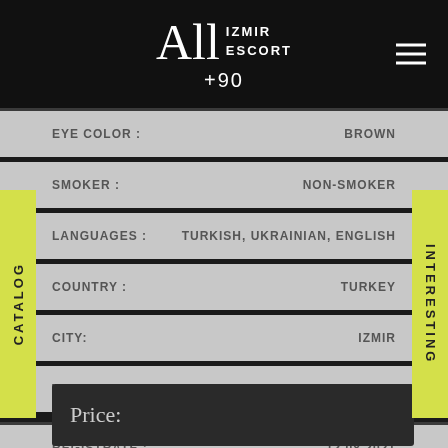All IZMIR ESCORT +90
| Field | Value |
| --- | --- |
| EYE COLOR : | BROWN |
| SMOKER : | NON-SMOKER |
| LANGUAGES : | TURKISH, UKRAINIAN, ENGLISH |
| COUNTRY : | TURKEY |
| CITY: | IZMIR |
| WORKING HOURS : | 24/7 |
| REGISTRATE : | 12.08.2021 |
Price: